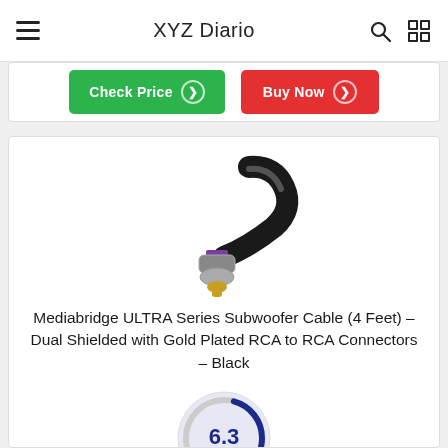XYZ Diario
Check Price  Buy Now
[Figure (photo): Mediabridge ULTRA Series subwoofer cable with gold-plated RCA connector and black cable with purple ring detail]
Mediabridge ULTRA Series Subwoofer Cable (4 Feet) – Dual Shielded with Gold Plated RCA to RCA Connectors – Black
[Figure (other): Score circle showing 6.3 rating in dark blue text on light lavender circular gauge background]